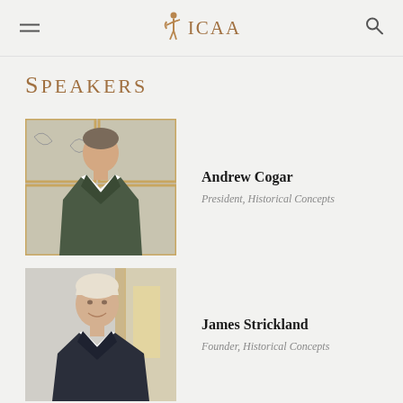ICAA
Speakers
[Figure (photo): Portrait photo of Andrew Cogar, a man in a dark blazer standing in front of decorative wall panels with gold frames]
Andrew Cogar
President, Historical Concepts
[Figure (photo): Portrait photo of James Strickland, an older man with white/blonde hair smiling, wearing a dark suit with white pocket square]
James Strickland
Founder, Historical Concepts